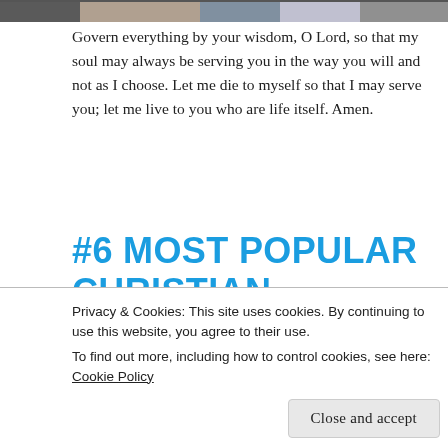[Figure (photo): Partial photograph visible at the top of the page, showing what appears to be a person or scene, clipped to a narrow strip.]
Govern everything by your wisdom, O Lord, so that my soul may always be serving you in the way you will and not as I choose. Let me die to myself so that I may serve you; let me live to you who are life itself. Amen.
#6 MOST POPULAR CHRISTIAN PRAYER: TRINITY – ST.
Privacy & Cookies: This site uses cookies. By continuing to use this website, you agree to their use.
To find out more, including how to control cookies, see here: Cookie Policy
Close and accept